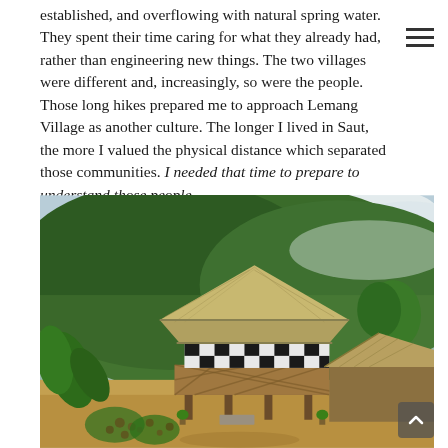established, and overflowing with natural spring water. They spent their time caring for what they already had, rather than engineering new things. The two villages were different and, increasingly, so were the people. Those long hikes prepared me to approach Lemang Village as another culture. The longer I lived in Saut, the more I valued the physical distance which separated those communities. I needed that time to prepare to understand those people.
[Figure (photo): A traditional two-story stilt house with a thatched roof and black-and-white checkered pattern on the upper walls, surrounded by tropical greenery and a forested hill in the background. Red flowers and green plants in the foreground.]